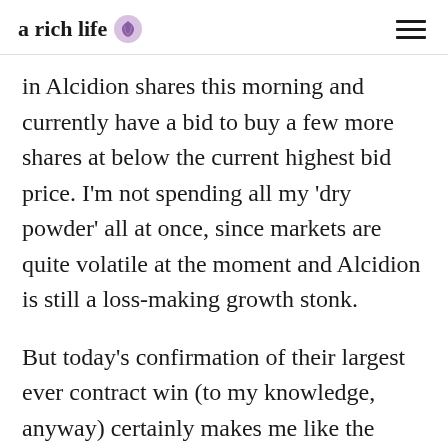a rich life
in Alcidion shares this morning and currently have a bid to buy a few more shares at below the current highest bid price. I'm not spending all my 'dry powder' all at once, since markets are quite volatile at the moment and Alcidion is still a loss-making growth stonk.
But today's confirmation of their largest ever contract win (to my knowledge, anyway) certainly makes me like the stock a little more.